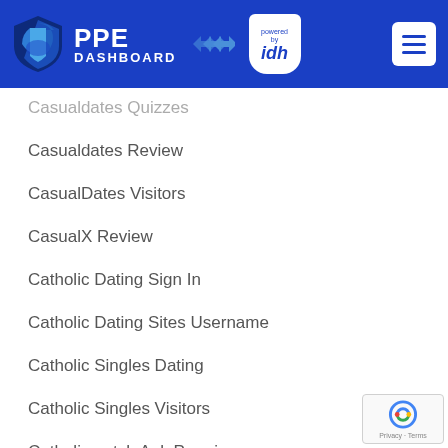[Figure (logo): PPE Dashboard logo with shield icon and 'powered by idh' badge, blue header with hamburger menu]
Casualdates Quizzes
Casualdates Review
CasualDates Visitors
CasualX Review
Catholic Dating Sign In
Catholic Dating Sites Username
Catholic Singles Dating
Catholic Singles Visitors
Catholicmatch Apk Premium